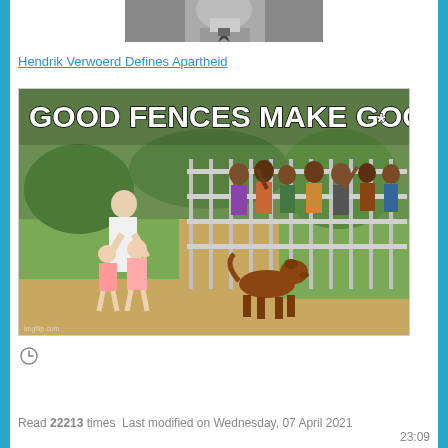[Figure (photo): Partial photo of a man in suit and tie, black and white, cropped at top]
Hendrik Verwoerd Defines Apartheid
[Figure (photo): Meme image with text 'GOOD FENCES MAKE GOOD NEIGHBORS' showing a woman with children on one side of a metal fence and a group of people on the other side, with a dog in the foreground]
[Figure (other): Clock/timer icon]
Read 22213 times  Last modified on Wednesday, 07 April 2021 23:09